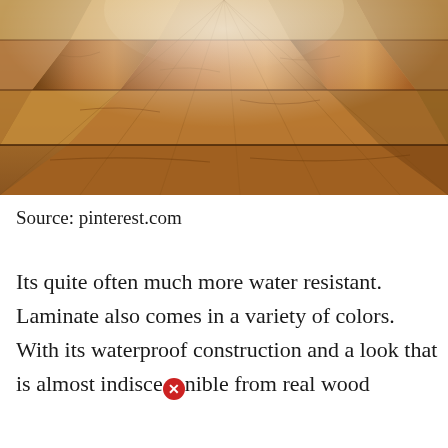[Figure (photo): Close-up perspective photograph of warm brown wood laminate flooring planks with natural grain texture, light reflecting from the upper center area.]
Source: pinterest.com
Its quite often much more water resistant. Laminate also comes in a variety of colors. With its waterproof construction and a look that is almost indiscernible from real wood